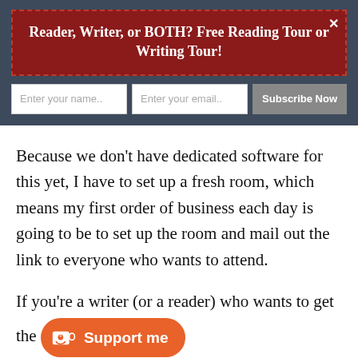Reader, Writer, or BOTH? Free Reading Tour or Writing Tour!
[Figure (screenshot): Email subscription form with name field, email field, and Subscribe Now button on dark blue background]
Because we don't have dedicated software for this yet, I have to set up a fresh room, which means my first order of business each day is going to be to set up the room and mail out the link to everyone who wants to attend.
If you're a writer (or a reader) who wants to get the [support me button] ting room, sign up below.
[optin-cat id=185733]